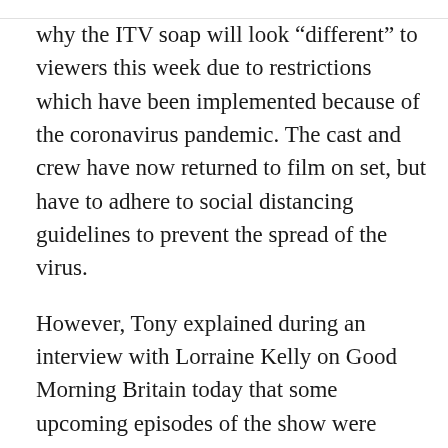why the ITV soap will look “different” to viewers this week due to restrictions which have been implemented because of the coronavirus pandemic. The cast and crew have now returned to film on set, but have to adhere to social distancing guidelines to prevent the spread of the virus.
However, Tony explained during an interview with Lorraine Kelly on Good Morning Britain today that some upcoming episodes of the show were filmed before the COVID-19 outbreak, which means the actors were able to get closer to one another during scenes.